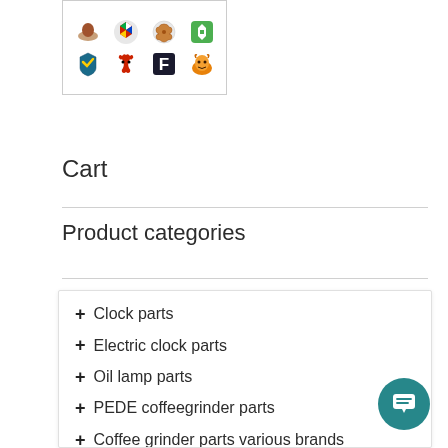[Figure (illustration): A box containing colorful brand/animal logo icons arranged in two rows: top row has a mushroom/pretzel/food icon, a colorful badge, a pretzel icon, a green shield icon; bottom row has a teal shield, a red squirrel, a bold F letter, and an orange lion.]
Cart
Product categories
Clock parts
Electric clock parts
Oil lamp parts
PEDE coffeegrinder parts
Coffee grinder parts various brands
Barometer parts
Barometers